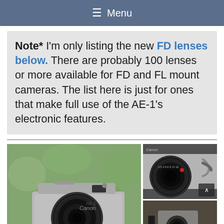≡ Menu
Note* I'm only listing the new FD lenses below. There are probably 100 lenses or more available for FD and FL mount cameras. The list here is just for ones that make full use of the AE-1's electronic features.
[Figure (photo): Two Canon AE-1 film cameras with lenses. Left: a Canon AE-1 camera body with a lens, set against a blurred green outdoor background. Right top: close-up of a Canon camera body with a lens, showing markings and a strap. Right bottom: partial view of camera equipment.]